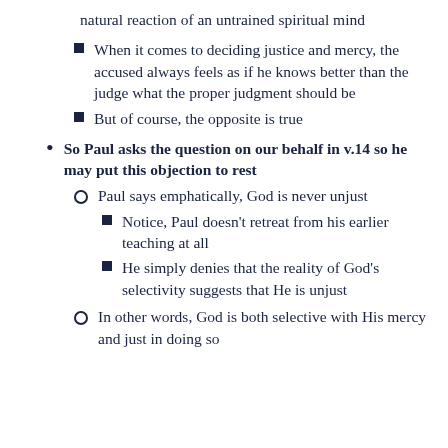natural reaction of an untrained spiritual mind
When it comes to deciding justice and mercy, the accused always feels as if he knows better than the judge what the proper judgment should be
But of course, the opposite is true
So Paul asks the question on our behalf in v.14 so he may put this objection to rest
Paul says emphatically, God is never unjust
Notice, Paul doesn't retreat from his earlier teaching at all
He simply denies that the reality of God's selectivity suggests that He is unjust
In other words, God is both selective with His mercy and just in doing so